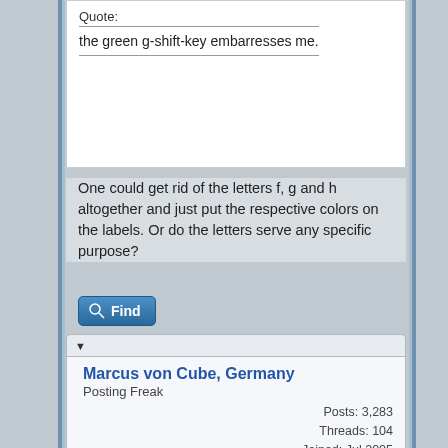Quote:
the green g-shift-key embarresses me.
One could get rid of the letters f, g and h altogether and just put the respective colors on the labels. Or do the letters serve any specific purpose?
[Figure (other): Find button with magnifying glass icon]
Marcus von Cube, Germany
Posting Freak
Posts: 3,283
Threads: 104
Joined: Jul 2005
02-12-2012, 09:28 AM  #32
The letters help to name key sequences in absence of color.